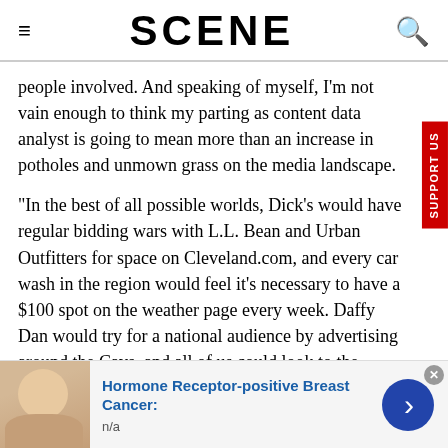SCENE
people involved. And speaking of myself, I'm not vain enough to think my parting as content data analyst is going to mean more than an increase in potholes and unmown grass on the media landscape.
"In the best of all possible worlds, Dick's would have regular bidding wars with L.L. Bean and Urban Outfitters for space on Cleveland.com, and every car wash in the region would feel it's necessary to have a $100 spot on the weather page every week. Daffy Dan would try for a national audience by advertising around the Cavs, and all of us could look to the horizons with confidence that there's
[Figure (photo): Advertisement banner showing a woman's face with text about Hormone Receptor-positive Breast Cancer]